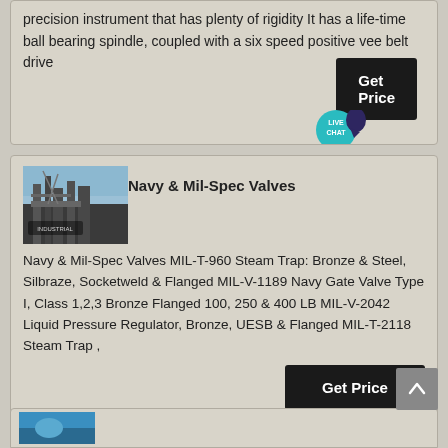precision instrument that has plenty of rigidity It has a life-time ball bearing spindle, coupled with a six speed positive vee belt drive
[Figure (screenshot): Get Price button with Live Chat bubble overlay]
[Figure (photo): Industrial facility/plant photo]
Navy & Mil-Spec Valves
Navy & Mil-Spec Valves MIL-T-960 Steam Trap: Bronze & Steel, Silbraze, Socketweld & Flanged MIL-V-1189 Navy Gate Valve Type I, Class 1,2,3 Bronze Flanged 100, 250 & 400 LB MIL-V-2042 Liquid Pressure Regulator, Bronze, UESB & Flanged MIL-T-2118 Steam Trap ,
[Figure (screenshot): Get Price button]